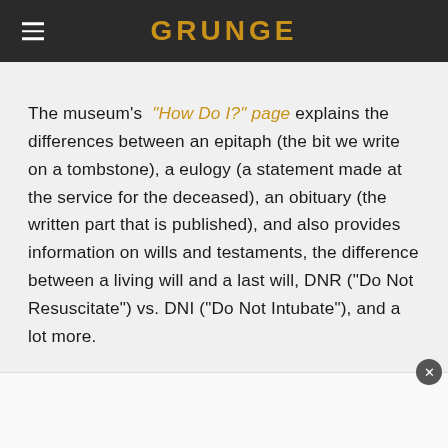GRUNGE
The museum's "How Do I?" page explains the differences between an epitaph (the bit we write on a tombstone), a eulogy (a statement made at the service for the deceased), an obituary (the written part that is published), and also provides information on wills and testaments, the difference between a living will and a last will, DNR ("Do Not Resuscitate") vs. DNI ("Do Not Intubate"), and a lot more.